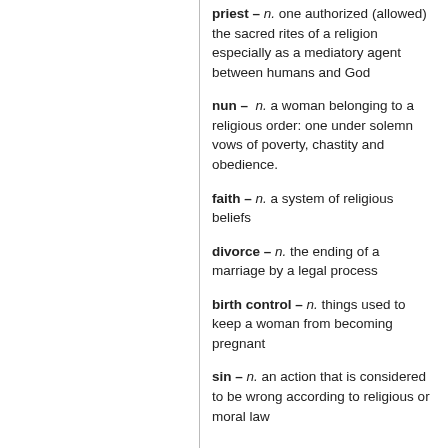priest – n. one authorized (allowed) the sacred rites of a religion especially as a mediatory agent between humans and God
nun – n. a woman belonging to a religious order: one under solemn vows of poverty, chastity and obedience.
faith – n. a system of religious beliefs
divorce – n. the ending of a marriage by a legal process
birth control – n. things used to keep a woman from becoming pregnant
sin – n. an action that is considered to be wrong according to religious or moral law